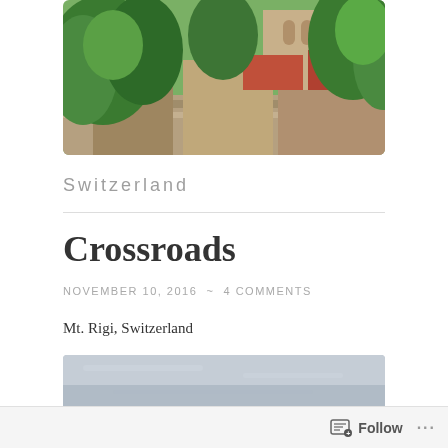[Figure (photo): Outdoor photo showing green trees and an old stone and brick building with a cathedral or church tower visible in the background, taken from a low angle.]
Switzerland
Crossroads
NOVEMBER 10, 2016 ~ 4 COMMENTS
Mt. Rigi, Switzerland
[Figure (photo): Landscape photo showing a pale blue-grey overcast sky over a misty mountain scene at Mt. Rigi, Switzerland.]
Follow